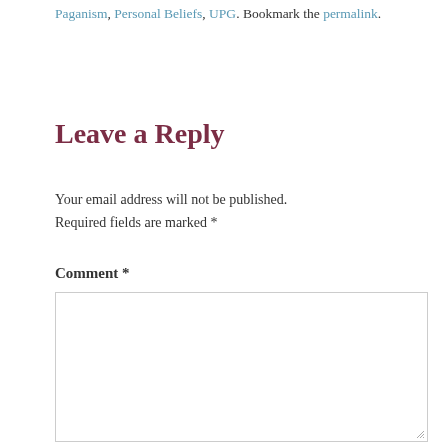Paganism, Personal Beliefs, UPG. Bookmark the permalink.
Leave a Reply
Your email address will not be published. Required fields are marked *
Comment *